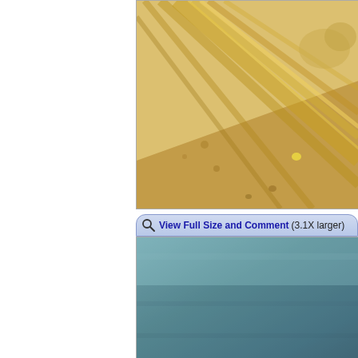[Figure (photo): Microscopy image showing diagonal yellowish-golden fibrous tissue or cellular structure against a pale beige-yellow background. The tissue appears layered and striated, running diagonally from upper-right to lower-left.]
View Full Size and Comment (3.1X larger)
[Figure (photo): Microscopy image with a teal/blue-grey uniform background, appearing as the top portion of a second microscopy slide image.]